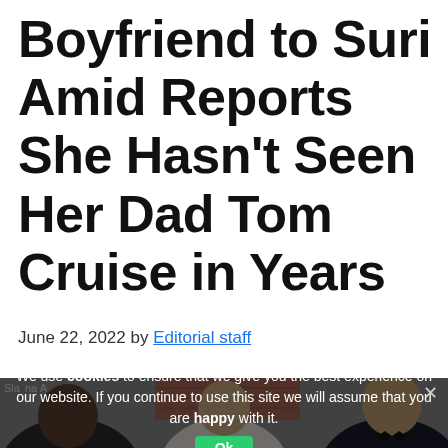Boyfriend to Suri Amid Reports She Hasn't Seen Her Dad Tom Cruise in Years
June 22, 2022 by Editorial staff
[Figure (photo): Photo of three people at an event, with a cookie consent banner overlay. Two men and a woman, one man on the left with dark beard, woman in center in white dress holding flowers, man on right in suit and bow tie. Brick wall visible in background.]